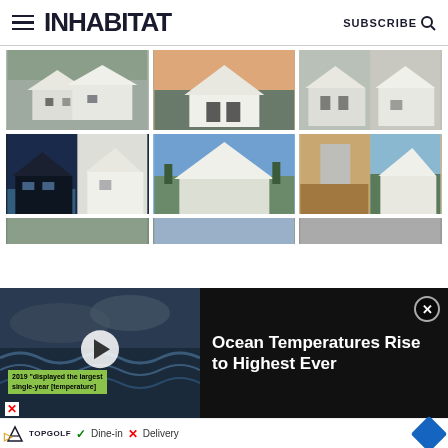INHABITAT — SUBSCRIBE
[Figure (photo): Grid of architectural photos showing modern white house structures — row 1: three photos of white geometric houses on hillsides]
[Figure (photo): Grid of architectural photos showing modern white house structures — row 2: three photos including night view with pool, exterior under sky, and interior/exterior split]
[Figure (photo): Partial row of architectural photos (partially obscured by ad overlay)]
[Figure (screenshot): Video ad overlay: ocean scene with text '2019 displayed the largest single-year [temperature]' and play button. Ad headline: Ocean Temperatures Rise to Highest Ever]
Ocean Temperatures Rise to Highest Ever
Dine-in  X  Delivery — Topgolf ad banner